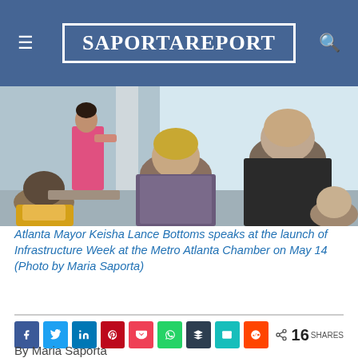SaportaReport
[Figure (photo): People seated in a conference room attending a presentation; a woman in a red skirt stands presenting at the front.]
Atlanta Mayor Keisha Lance Bottoms speaks at the launch of Infrastructure Week at the Metro Atlanta Chamber on May 14 (Photo by Maria Saporta)
16 SHARES
By Maria Saporta